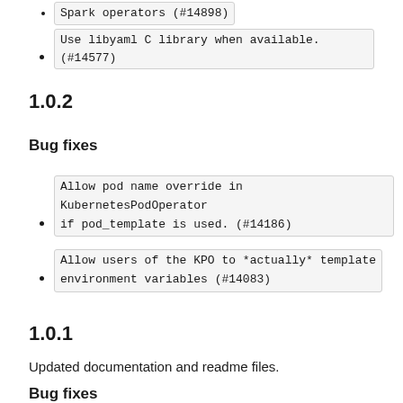Spark operators (#14898)
Use libyaml C library when available. (#14577)
1.0.2
Bug fixes
Allow pod name override in KubernetesPodOperator if pod_template is used. (#14186)
Allow users of the KPO to *actually* template environment variables (#14083)
1.0.1
Updated documentation and readme files.
Bug fixes